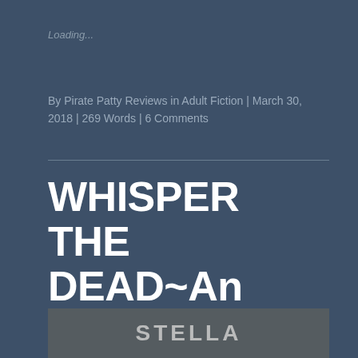Loading...
By Pirate Patty Reviews in Adult Fiction | March 30, 2018 | 269 Words | 6 Comments
WHISPER THE DEAD~An Alex Duggins Mystery by STELLA CAMERON
[Figure (photo): Partial book cover image at bottom of page showing 'STELLA' text in large letters]